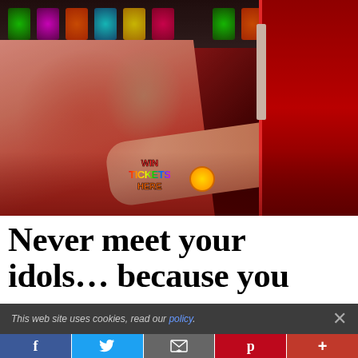[Figure (photo): A woman in a red polka-dot dress posing in a colorful arcade/amusement environment with a 'WIN TICKETS HERE' sign visible. She is leaning against colorful shelves with prizes and a red door panel on the right.]
Never meet your idols... because you
This web site uses cookies, read our policy.
f  Twitter bird  email  p  +